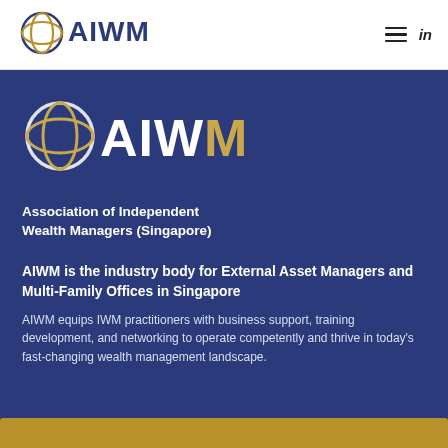[Figure (logo): AIWM logo in header — circular globe-like icon in navy/gold with text AIWM in navy]
[Figure (logo): AIWM large logo in white section — circular globe icon in white/gold with AIWM in white and gold lettering, plus tagline Association of Independent Wealth Managers (Singapore)]
AIWM is the industry body for External Asset Managers and Multi-Family Offices in Singapore
AIWM equips IWM practitioners with business support, training development, and networking to operate competently and thrive in today’s fast-changing wealth management landscape.